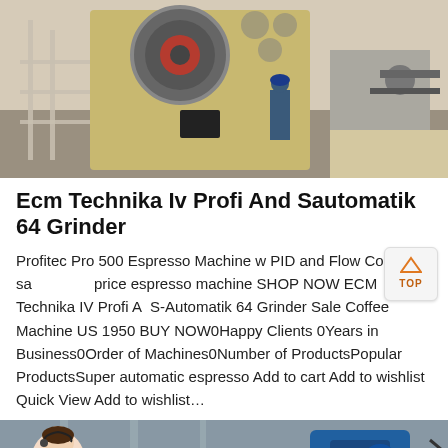[Figure (photo): Industrial jaw crusher machine with a worker in blue hard hat standing nearby, outdoor industrial setting with machinery components visible]
Ecm Technika Iv Profi And Sautomatik 64 Grinder
Profitec Pro 500 Espresso Machine w PID and Flow Control. sale price espresso machine SHOP NOW ECM Technika IV Profi And S-Automatik 64 Grinder Sale Coffee Machine US 1950 BUY NOW0Happy Clients 0Years in Business0Order of Machines0Number of ProductsPopular ProductsSuper automatic espresso Add to cart Add to wishlist Quick View Add to wishlist…
[Figure (photo): Industrial machinery/mining equipment with blue motor, with a customer service representative overlay and Message and Online Chat buttons at bottom]